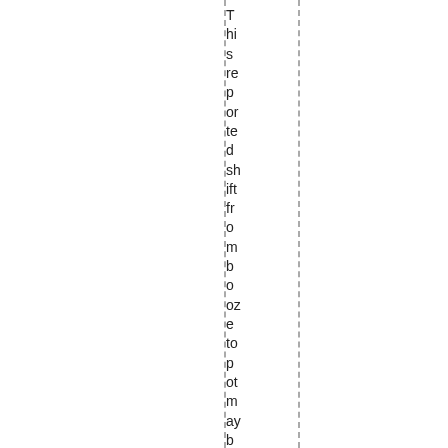This reported shift from booze to pot maybe linked with